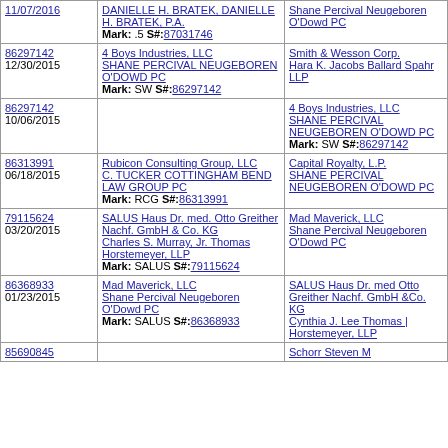| Date/Serial | Plaintiff / Attorney / Mark | Defendant / Attorney |
| --- | --- | --- |
| 11/07/2016 | DANIELLE H. BRATEK, DANIELLE H. BRATEK, P.A.
Mark: .5 S#:87031746 | Shane Percival Neugeboren O'Dowd PC |
| 86297142
12/30/2015 | 4 Boys Industries, LLC
SHANE PERCIVAL NEUGEBOREN O'DOWD PC
Mark: SW S#:86297142 | Smith & Wesson Corp.
Hara K. Jacobs Ballard Spahr LLP |
| 86297142
10/06/2015 |  | 4 Boys Industries, LLC
SHANE PERCIVAL NEUGEBOREN O'DOWD PC
Mark: SW S#:86297142 |
| 86313991
06/18/2015 | Rubicon Consulting Group, LLC
C. TUCKER COTTINGHAM BEND LAW GROUP PC
Mark: RCG S#:86313991 | Capital Royalty, L.P.
SHANE PERCIVAL NEUGEBOREN O'DOWD PC |
| 79115624
03/20/2015 | SALUS Haus Dr. med. Otto Greither Nachf. GmbH & Co. KG
Charles S. Murray, Jr. Thomas Horstemeyer, LLP
Mark: SALUS S#:79115624 | Mad Maverick, LLC
Shane Percival Neugeboren O'Dowd PC |
| 86368933
01/23/2015 | Mad Maverick, LLC
Shane Percival Neugeboren O'Dowd PC
Mark: SALUS S#:86368933 | SALUS Haus Dr. med Otto Greither Nachf. GmbH &Co. KG
Cynthia J. Lee Thomas | Horstemeyer, LLP |
| 85690845 |  | Schorr Steven M |